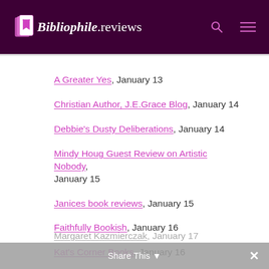Bibliophile.reviews
A Greater Yes, January 13
Christian Author, J.E.Grace Blog, January 14
Debbie's Dusty Deliberations, January 14
Mindy Houg Guest Review on Artistic Nobody, January 15
Janices book reviews, January 15
Faithfully Bookish, January 16
Kat's Corner Books, January 16
Margaret Kazmierczak, January 17
Share This